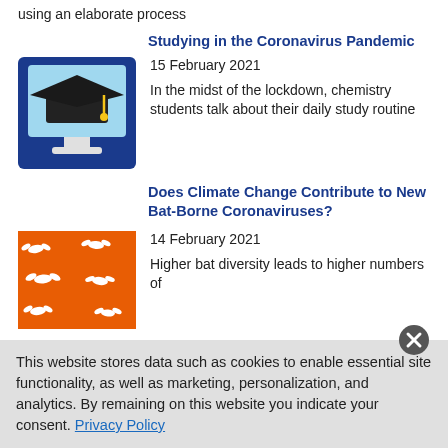using an elaborate process
Studying in the Coronavirus Pandemic
[Figure (illustration): Illustration of a graduation cap on a computer monitor with blue background]
15 February 2021
In the midst of the lockdown, chemistry students talk about their daily study routine
Does Climate Change Contribute to New Bat-Borne Coronaviruses?
[Figure (photo): Photo of white bat cutouts on an orange background]
14 February 2021
Higher bat diversity leads to higher numbers of
This website stores data such as cookies to enable essential site functionality, as well as marketing, personalization, and analytics. By remaining on this website you indicate your consent. Privacy Policy